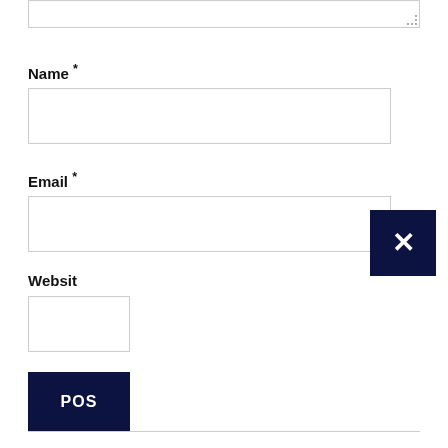[Figure (screenshot): Partial textarea input box at top of page with dotted resize handle in bottom-right corner]
Name *
[Figure (screenshot): Name input field, empty text box]
Email *
[Figure (screenshot): Email input field, empty text box, with a black X close button overlaid on the right side]
Websit
[Figure (screenshot): Website input field, partially visible empty text box]
[Figure (screenshot): Dark navy POST button, partially cut off showing 'POS']